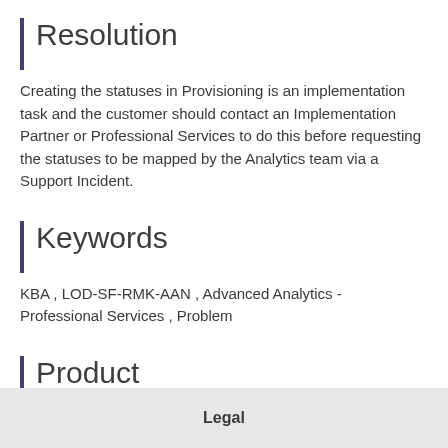Resolution
Creating the statuses in Provisioning is an implementation task and the customer should contact an Implementation Partner or Professional Services to do this before requesting the statuses to be mapped by the Analytics team via a Support Incident.
Keywords
KBA , LOD-SF-RMK-AAN , Advanced Analytics - Professional Services , Problem
Product
SAP SuccessFactors Recruiting all versions
Legal